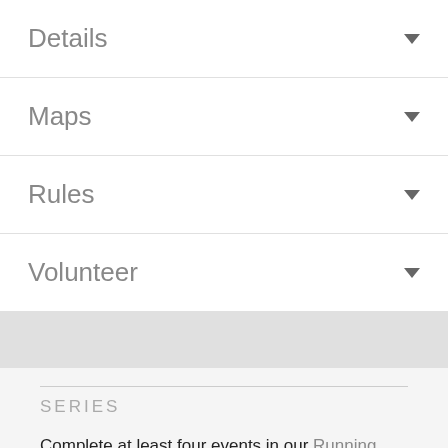Details ▾
Maps ▾
Rules ▾
Volunteer ▾
SERIES
Complete at least four events in our Running Series or our Multisport Series and qualify to win one of our excellent series awards!